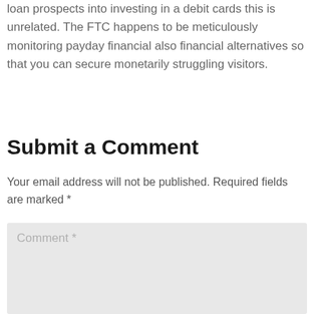loan prospects into investing in a debit cards this is unrelated. The FTC happens to be meticulously monitoring payday financial also financial alternatives so that you can secure monetarily struggling visitors.
Submit a Comment
Your email address will not be published. Required fields are marked *
Comment *